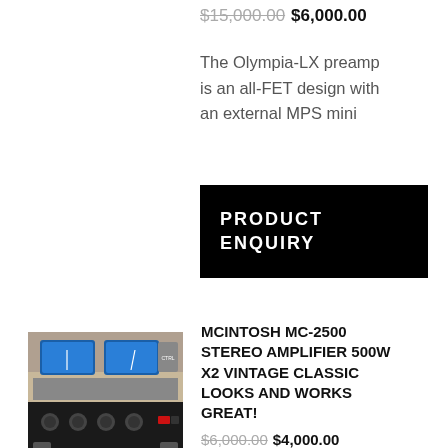$15,000.00  $6,000.00
The Olympia-LX preamp is an all-FET design with an external MPS mini
PRODUCT ENQUIRY
[Figure (photo): McIntosh MC-2500 stereo amplifier with two blue VU meters and multiple control knobs, silver and black chassis]
MCINTOSH MC-2500 STEREO AMPLIFIER 500W X2 VINTAGE CLASSIC LOOKS AND WORKS GREAT!
$6,000.00  $4,000.00